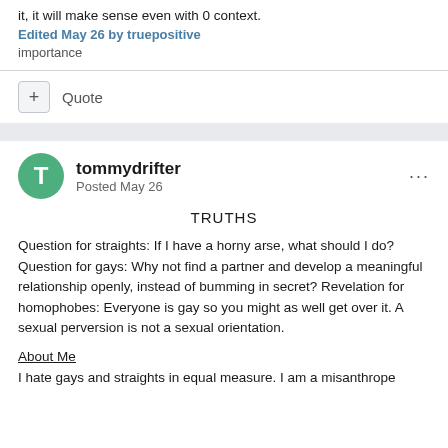it, it will make sense even with 0 context.
Edited May 26 by truepositive
importance
Quote
tommydrifter
Posted May 26
TRUTHS
Question for straights: If I have a horny arse, what should I do? Question for gays: Why not find a partner and develop a meaningful relationship openly, instead of bumming in secret? Revelation for homophobes: Everyone is gay so you might as well get over it. A sexual perversion is not a sexual orientation.
About Me
I hate gays and straights in equal measure. I am a misanthrope